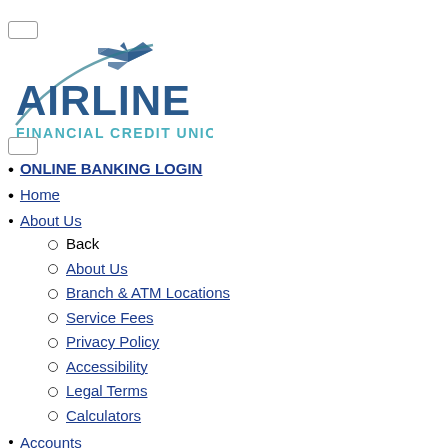[Figure (logo): Airline Financial Credit Union logo with airplane icon and teal/dark blue text]
ONLINE BANKING LOGIN
Home
About Us
Back
About Us
Branch & ATM Locations
Service Fees
Privacy Policy
Accessibility
Legal Terms
Calculators
Accounts
Back
Accounts
Chequing Account
Plan 24 Account
Super Sonic Savings
US Chequing and Savings